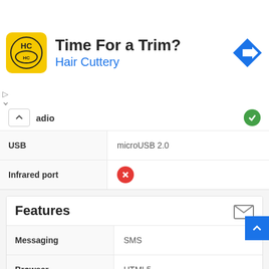[Figure (screenshot): Advertisement banner for Hair Cuttery with logo, text 'Time For a Trim?' and 'Hair Cuttery', navigation arrow icon, and ad controls]
| Feature | Value |
| --- | --- |
| Radio | ✓ |
| USB | microUSB 2.0 |
| Infrared port | ✗ |
Features
| Feature | Value |
| --- | --- |
| Messaging | SMS |
| Browser | HTML5 |
| Java | ✗ |
Battery